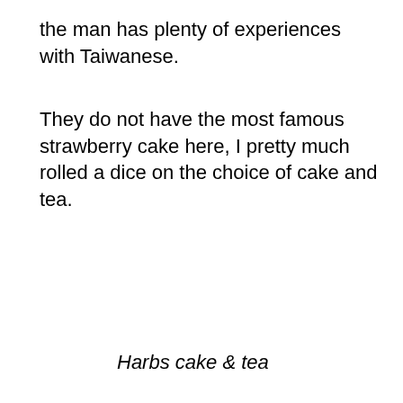the man has plenty of experiences with Taiwanese.
They do not have the most famous strawberry cake here, I pretty much rolled a dice on the choice of cake and tea.
Harbs cake & tea